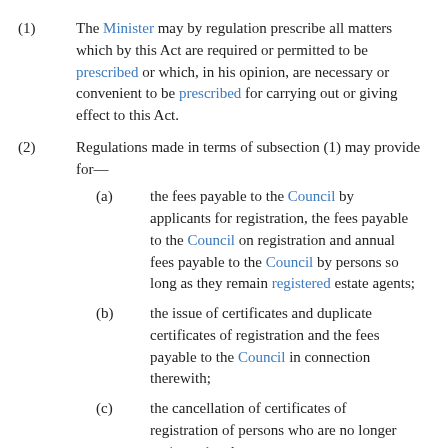(1) The Minister may by regulation prescribe all matters which by this Act are required or permitted to be prescribed or which, in his opinion, are necessary or convenient to be prescribed for carrying out or giving effect to this Act.
(2) Regulations made in terms of subsection (1) may provide for—
(a) the fees payable to the Council by applicants for registration, the fees payable to the Council on registration and annual fees payable to the Council by persons so long as they remain registered estate agents;
(b) the issue of certificates and duplicate certificates of registration and the fees payable to the Council in connection therewith;
(c) the cancellation of certificates of registration of persons who are no longer registered and the delivery of such certificates to the...